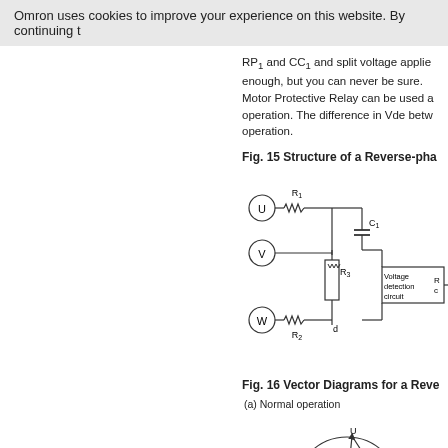Omron uses cookies to improve your experience on this website. By continuing t
RP1 and CC1 and split voltage applie enough, but you can never be sure. Motor Protective Relay can be used a operation. The difference in Vde betw operation.
Fig. 15 Structure of a Reverse-pha
[Figure (circuit-diagram): Circuit diagram showing U, V, W phase inputs with resistors R1, R2, R3, capacitor C1, and a Voltage detection circuit block. U connects through R1 to a node, C1 is connected vertically, V connects to the midpoint, R3 connects to the bottom rail, W connects through R2 to node d, and the right side feeds into a Voltage detection circuit box.]
Fig. 16 Vector Diagrams for a Reve
(a) Normal operation
[Figure (engineering-diagram): Vector diagram for normal operation showing a circle with vectors U, VR1, VUV, VWU, Vds, and e p labeled, representing phase voltage vectors in normal three-phase operation.]